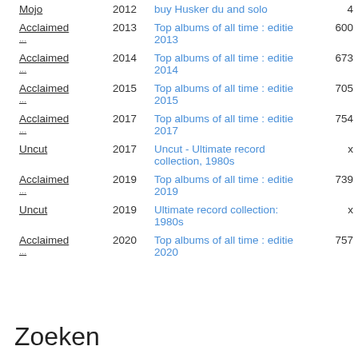| Source | Year | List | Rank |
| --- | --- | --- | --- |
| Mojo | 2012 | buy Husker du and solo | 4 |
| Acclaimed ... | 2013 | Top albums of all time : editie 2013 | 600 |
| Acclaimed ... | 2014 | Top albums of all time : editie 2014 | 673 |
| Acclaimed ... | 2015 | Top albums of all time : editie 2015 | 705 |
| Acclaimed ... | 2017 | Top albums of all time : editie 2017 | 754 |
| Uncut | 2017 | Uncut - Ultimate record collection, 1980s | x |
| Acclaimed ... | 2019 | Top albums of all time : editie 2019 | 739 |
| Uncut | 2019 | Ultimate record collection: 1980s | x |
| Acclaimed ... | 2020 | Top albums of all time : editie 2020 | 757 |
Zoeken